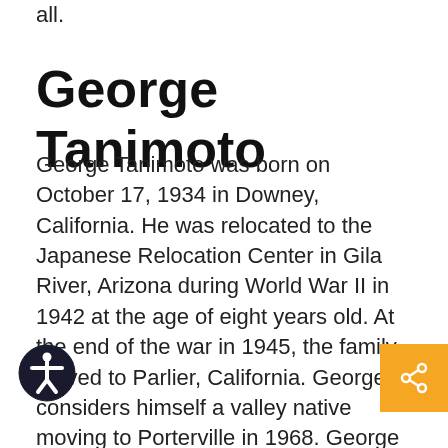all.
George Tanimoto
George Tanimoto was born on October 17, 1934 in Downey, California.  He was relocated to the Japanese Relocation Center in Gila River, Arizona during World War II in 1942 at the age of eight years old.  At the end of the war in 1945, the family moved to Parlier, California.  George considers himself a valley native moving to Porterville in 1968.  George graduated from high school in Sanger where he took his first art classes.  His grandfather was a tombstone cutter of fancy headstones in Hawaii and George believes his artistic ability runs through his family tree starting with him.  George earned a degree in Industrial Arts from California State University, Fresno where he majored in woodworking, however, he was not able to pursue